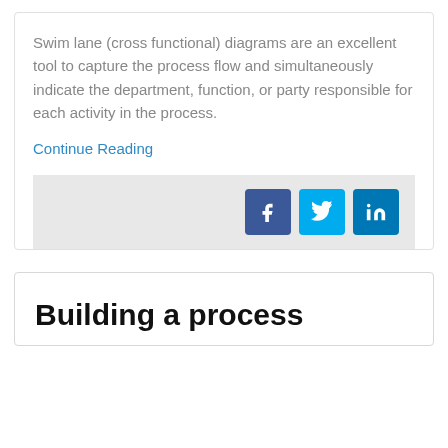Swim lane (cross functional) diagrams are an excellent tool to capture the process flow and simultaneously indicate the department, function, or party responsible for each activity in the process.
Continue Reading
[Figure (infographic): Social media share buttons: Facebook (blue), Twitter (light blue), LinkedIn (dark blue)]
Building a process improvement?